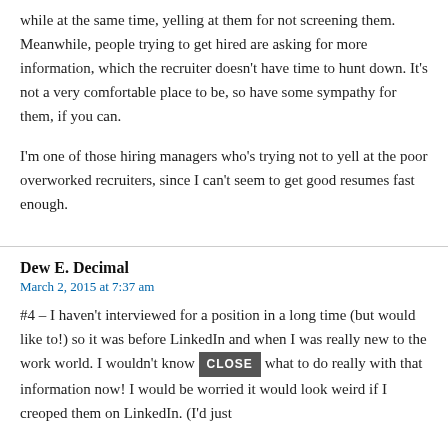while at the same time, yelling at them for not screening them. Meanwhile, people trying to get hired are asking for more information, which the recruiter doesn't have time to hunt down. It's not a very comfortable place to be, so have some sympathy for them, if you can.
I'm one of those hiring managers who's trying not to yell at the poor overworked recruiters, since I can't seem to get good resumes fast enough.
Dew E. Decimal
March 2, 2015 at 7:37 am
#4 – I haven't interviewed for a position in a long time (but would like to!) so it was before LinkedIn and when I was really new to the work world. I wouldn't know what to do really with that information now! I would be worried it would look weird if I creoped them on LinkedIn. (I'd just